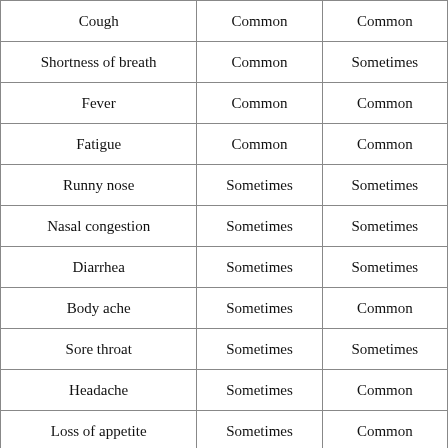| Cough | Common | Common |
| Shortness of breath | Common | Sometimes |
| Fever | Common | Common |
| Fatigue | Common | Common |
| Runny nose | Sometimes | Sometimes |
| Nasal congestion | Sometimes | Sometimes |
| Diarrhea | Sometimes | Sometimes |
| Body ache | Sometimes | Common |
| Sore throat | Sometimes | Sometimes |
| Headache | Sometimes | Common |
| Loss of appetite | Sometimes | Common |